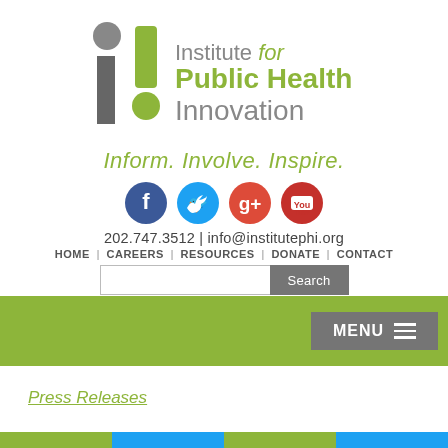[Figure (logo): Institute for Public Health Innovation logo with stylized 'i!' mark in gray and olive green, next to text 'Institute for Public Health Innovation']
Inform. Involve. Inspire.
[Figure (infographic): Social media icons row: Facebook (blue circle with f), Twitter (light blue circle with bird), Google+ (red circle with g+), YouTube (dark red circle with play button)]
202.747.3512 | info@institutephi.org
HOME | CAREERS | RESOURCES | DONATE | CONTACT
Search
MENU
Press Releases